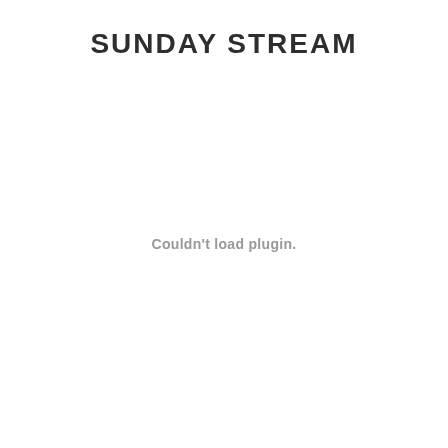SUNDAY STREAM
Couldn't load plugin.